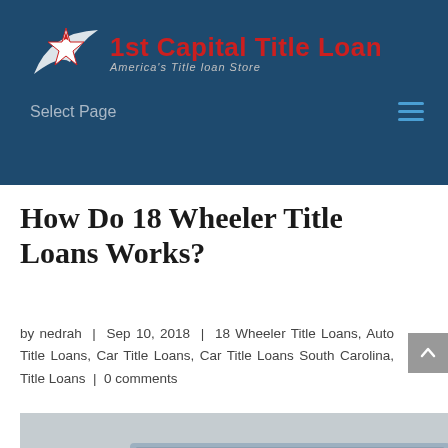[Figure (logo): 1st Capital Title Loan logo with star and swoosh graphic, red bold text '1st Capital Title Loan' and italic subtitle 'America's Title loan Store']
Select Page
How Do 18 Wheeler Title Loans Works?
by nedrah | Sep 10, 2018 | 18 Wheeler Title Loans, Auto Title Loans, Car Title Loans, Car Title Loans South Carolina, Title Loans | 0 comments
[Figure (photo): Rear view of a blue semi-truck/18-wheeler on a highway road with dry grassy landscape in background]